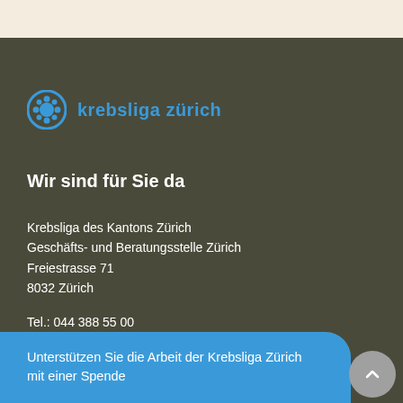[Figure (logo): Krebsliga Zürich logo: blue circle with crown/flower icon and blue text 'krebsliga zürich']
Wir sind für Sie da
Krebsliga des Kantons Zürich
Geschäfts- und Beratungsstelle Zürich
Freiestrasse 71
8032 Zürich
Tel.: 044 388 55 00
E-Mail: info@krebsligazuerich.ch
Impressum | Disclaimer
Unterstützen Sie die Arbeit der Krebsliga Zürich mit einer Spende